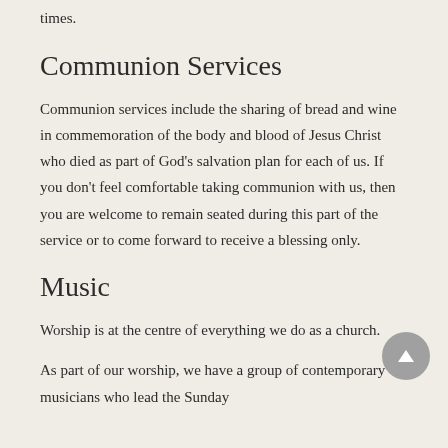times.
Communion Services
Communion services include the sharing of bread and wine in commemoration of the body and blood of Jesus Christ who died as part of God's salvation plan for each of us. If you don't feel comfortable taking communion with us, then you are welcome to remain seated during this part of the service or to come forward to receive a blessing only.
Music
Worship is at the centre of everything we do as a church.
As part of our worship, we have a group of contemporary musicians who lead the Sunday